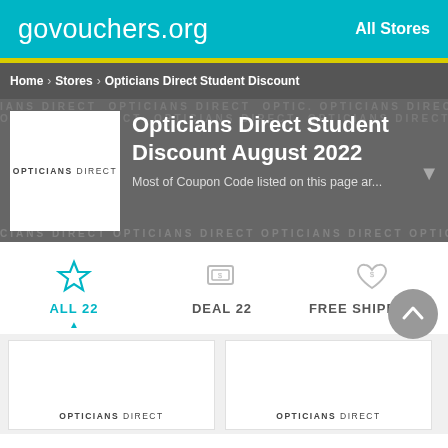govouchers.org   All Stores
Home > Stores > Opticians Direct Student Discount
Opticians Direct Student Discount August 2022
Most of Coupon Code listed on this page ar...
ALL 22   DEAL 22   FREE SHIPPING 2
[Figure (screenshot): Two Opticians Direct coupon cards at the bottom of the page]